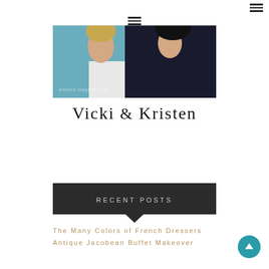[Figure (other): Hamburger/menu icon in top right corner]
[Figure (other): Hamburger/menu icon centered at top]
[Figure (photo): Photo of two women, one in a teal/blue jacket and one in a dark navy top, partial crop showing torsos and faces partially cut off]
Vicki & Kristen
RECENT POSTS
The Many Colors of French Dressers
Antique Jacobean Buffet Makeover